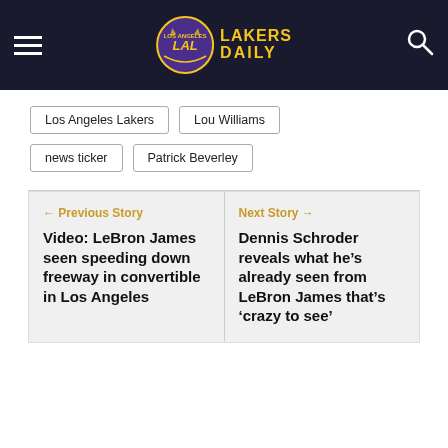Lakers Daily
Los Angeles Lakers
Lou Williams
news ticker
Patrick Beverley
← Previous Story
Video: LeBron James seen speeding down freeway in convertible in Los Angeles
Next Story →
Dennis Schroder reveals what he's already seen from LeBron James that's 'crazy to see'